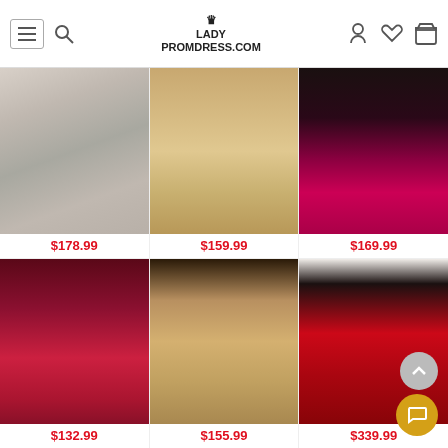LADY PROMDRESS.COM
[Figure (photo): Silver/gray sequin mermaid prom dress worn by woman outdoors in black and white setting]
$178.99
[Figure (photo): Rose gold/nude sequin mermaid gown on mannequin in front of ornate gold mirror frame]
$159.99
[Figure (photo): Couple posing, woman in hot pink/fuchsia mermaid gown with train]
$169.99
[Figure (photo): Deep red/burgundy long sleeve plunge neck ball gown with high slit, shown in boutique]
$132.99
[Figure (photo): Rose gold sequin mermaid gown with sweetheart neckline and slit, worn by woman in grand hall]
$155.99
[Figure (photo): Red lace long sleeve mermaid gown with feather hem detail, worn by woman indoors]
$339.99